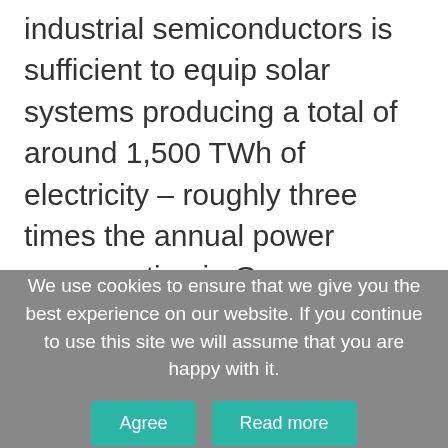industrial semiconductors is sufficient to equip solar systems producing a total of around 1,500 TWh of electricity – roughly three times the annual power consumption in Germany.
We use cookies to ensure that we give you the best experience on our website. If you continue to use this site we will assume that you are happy with it.